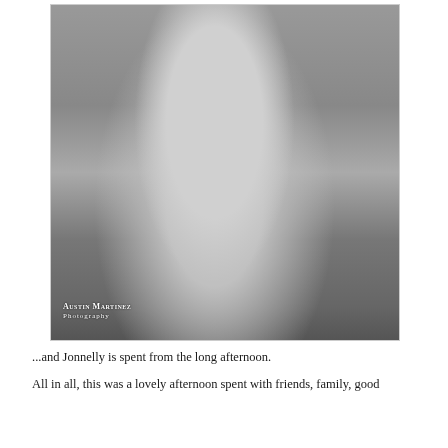[Figure (photo): Black and white photograph of a pregnant woman in a tank top and patterned skirt, photographed from the torso down showing her baby bump. Another person is visible in the background. Watermark reads 'Austin Martinez Photography' in the lower left corner.]
...and Jonnelly is spent from the long afternoon.
All in all, this was a lovely afternoon spent with friends, family, good